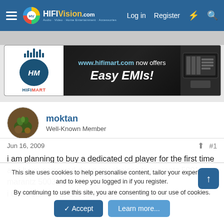HiFiVision.com – Log in  Register
[Figure (screenshot): HiFiMart advertisement banner: www.hifimart.com now offers Easy EMIs!]
moktan
Well-Known Member
Jun 16, 2009  #1
i am planning to buy a dedicated cd player for the first time and have narrowed down my choices to marantz 5001 and marantz 5003.
i understand that 5001 has been discontinued but have
This site uses cookies to help personalise content, tailor your experience and to keep you logged in if you register.
By continuing to use this site, you are consenting to our use of cookies.
Accept  Learn more...